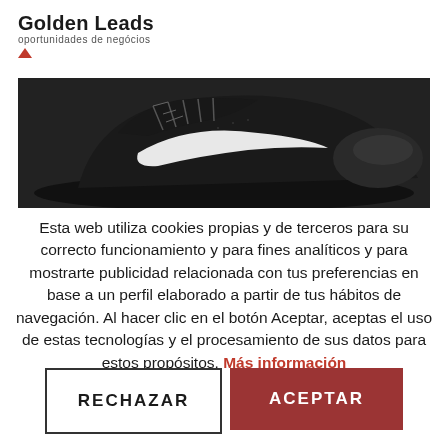[Figure (logo): Golden Leads logo with text 'Golden Leads', subtitle 'oportunidades de negócios', and a small red triangle below]
[Figure (photo): Black and white close-up photo of a Nike sneaker shoe from above/side angle]
Esta web utiliza cookies propias y de terceros para su correcto funcionamiento y para fines analíticos y para mostrarte publicidad relacionada con tus preferencias en base a un perfil elaborado a partir de tus hábitos de navegación. Al hacer clic en el botón Aceptar, aceptas el uso de estas tecnologías y el procesamiento de sus datos para estos propósitos. Más información
RECHAZAR
ACEPTAR